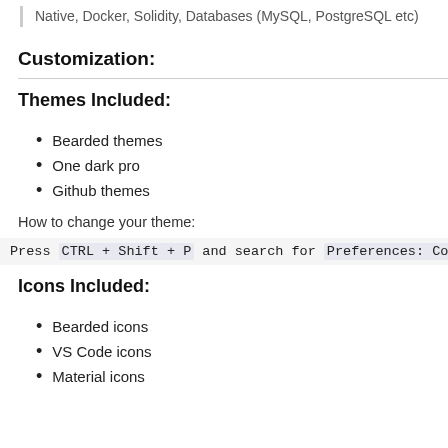Native, Docker, Solidity, Databases (MySQL, PostgreSQL etc)
Customization:
Themes Included:
Bearded themes
One dark pro
Github themes
How to change your theme:
Press CTRL + Shift + P and search for Preferences: Color
Icons Included:
Bearded icons
VS Code icons
Material icons